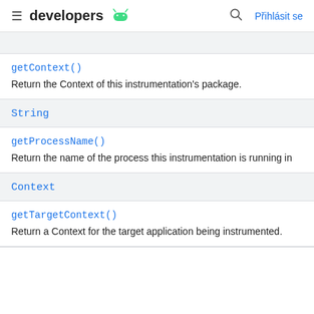≡ developers 🤖  🔍 Přihlásit se
getContext()
Return the Context of this instrumentation's package.
String
getProcessName()
Return the name of the process this instrumentation is running in
Context
getTargetContext()
Return a Context for the target application being instrumented.